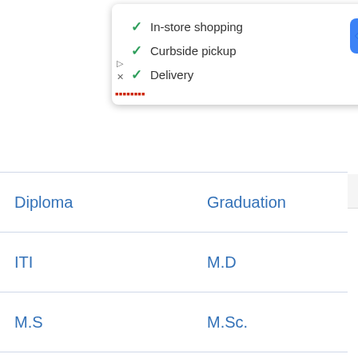[Figure (screenshot): A popup card showing shopping options with green checkmarks: In-store shopping, Curbside pickup, Delivery. Includes an ad label, navigation arrow icon, play and close icons.]
| Diploma | Graduation |
| ITI | M.D |
| M.S | M.Sc. |
| Master Degree | MBA |
| MBBS | MCA |
| ME/M.Tech | Post Graduate |